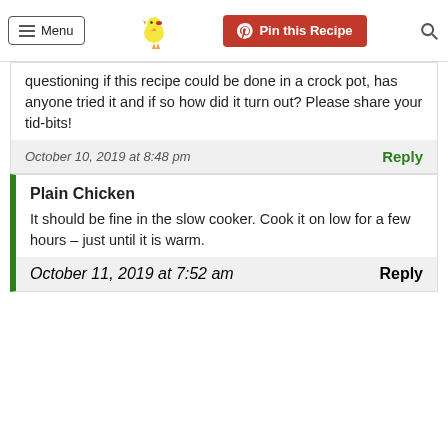Menu | Pin this Recipe | [search]
questioning if this recipe could be done in a crock pot, has anyone tried it and if so how did it turn out? Please share your tid-bits!
October 10, 2019 at 8:48 pm
Reply
Plain Chicken
It should be fine in the slow cooker. Cook it on low for a few hours – just until it is warm.
October 11, 2019 at 7:52 am
Reply